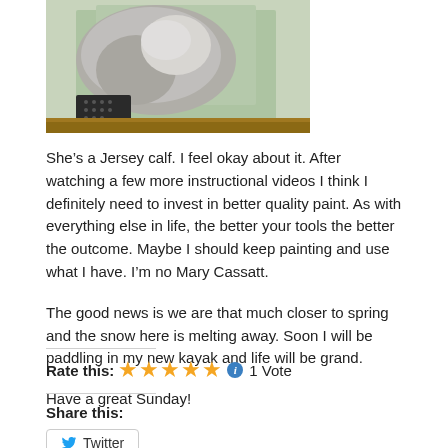[Figure (photo): Cropped photo of a Jersey calf, partially visible, on a painted canvas with light green/teal background]
She’s a Jersey calf. I feel okay about it. After watching a few more instructional videos I think I definitely need to invest in better quality paint. As with everything else in life, the better your tools the better the outcome. Maybe I should keep painting and use what I have. I’m no Mary Cassatt.
The good news is we are that much closer to spring and the snow here is melting away. Soon I will be paddling in my new kayak and life will be grand.
Have a great Sunday!
Rate this: ★★★★★ ℹ 1 Vote
Share this:
Twitter